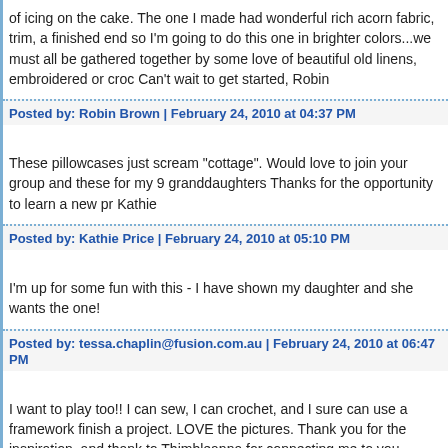of icing on the cake. The one I made had wonderful rich acorn fabric, trim, a finished end so I'm going to do this one in brighter colors...we must all be gathered together by some love of beautiful old linens, embroidered or croc Can't wait to get started, Robin
Posted by: Robin Brown | February 24, 2010 at 04:37 PM
These pillowcases just scream "cottage". Would love to join your group and these for my 9 granddaughters Thanks for the opportunity to learn a new pr Kathie
Posted by: Kathie Price | February 24, 2010 at 05:10 PM
I'm up for some fun with this - I have shown my daughter and she wants the one!
Posted by: tessa.chaplin@fusion.com.au | February 24, 2010 at 06:47 PM
I want to play too!! I can sew, I can crochet, and I sure can use a framework finish a project. LOVE the pictures. Thank you for the inspiration, and thank to Thimbleanna for connecting me to you.
Posted by: Karla Mc Murrin | February 25, 2010 at 05:58 AM